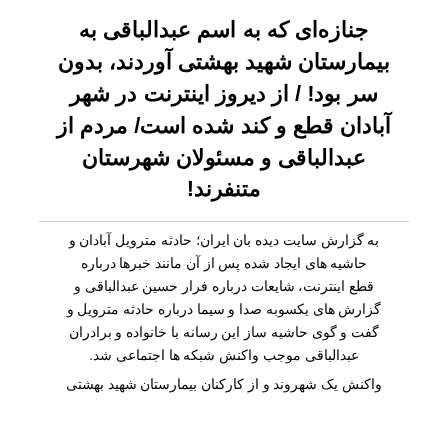جنازه‌ای که به اسم عبدالباقی به بیمارستان شهید بهشتی آوردند، بدون سر بود! / از دیروز اینترنت در شهر آبادان قطع و کند شده است/ مردم از عبدالباقی و مسئولان شهرستان متنفرند!
به گزارش سایت دیده بان ایران؛ حادثه مترویل آبادان و حاشیه های ایجاد شده پس از آن مانند خبرها درباره قطع اینترنت، شایعات درباره فرار حسین عبدالباقی و گزارش های یکسوبه صدا و سیما درباره حادثه مترویل و گفت و گوی حاشیه ساز این رسانه با خانواده و برادران عبدالباقی موجب واکنش شبکه ها اجتماعی شد.
واکنش یک شهروند و از کارکنان بیمارستان شهید بهشتی